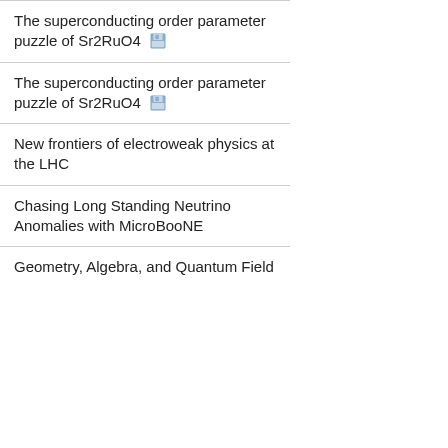The superconducting order parameter puzzle of Sr2RuO4
The superconducting order parameter puzzle of Sr2RuO4
New frontiers of electroweak physics at the LHC
Chasing Long Standing Neutrino Anomalies with MicroBooNE
Geometry, Algebra, and Quantum Field